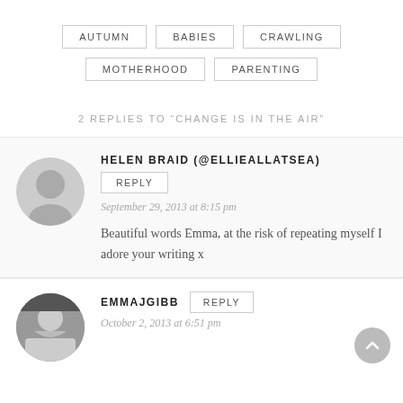AUTUMN
BABIES
CRAWLING
MOTHERHOOD
PARENTING
2 REPLIES TO “CHANGE IS IN THE AIR”
HELEN BRAID (@ELLIEALLATSEA)
REPLY
September 29, 2013 at 8:15 pm
Beautiful words Emma, at the risk of repeating myself I adore your writing x
EMMAJGIBB
REPLY
October 2, 2013 at 6:51 pm